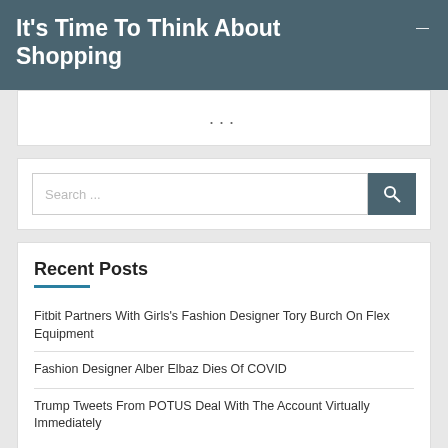It's Time To Think About Shopping
...
Search ...
Recent Posts
Fitbit Partners With Girls's Fashion Designer Tory Burch On Flex Equipment
Fashion Designer Alber Elbaz Dies Of COVID
Trump Tweets From POTUS Deal With The Account Virtually Immediately